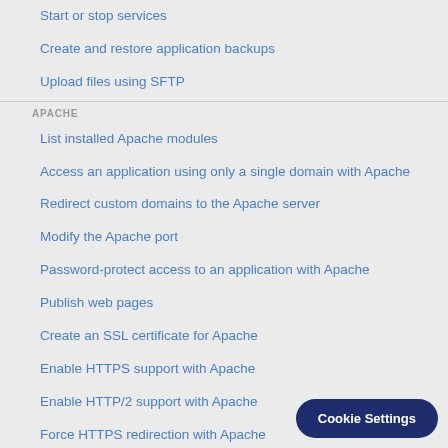Start or stop services
Create and restore application backups
Upload files using SFTP
APACHE
List installed Apache modules
Access an application using only a single domain with Apache
Redirect custom domains to the Apache server
Modify the Apache port
Password-protect access to an application with Apache
Publish web pages
Create an SSL certificate for Apache
Enable HTTPS support with Apache
Enable HTTP/2 support with Apache
Force HTTPS redirection with Apache
Troubleshoot SSL certificates a…